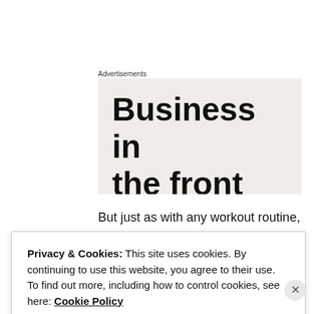Advertisements
[Figure (other): Advertisement banner with large bold text reading 'Business in the front' on a light beige/cream background]
But just as with any workout routine, you first decide to be healthier, you embrace the current discomfort, you work through the pain, you rest when you need to, and then do it again. it takes
Privacy & Cookies: This site uses cookies. By continuing to use this website, you agree to their use.
To find out more, including how to control cookies, see here: Cookie Policy
Close and accept